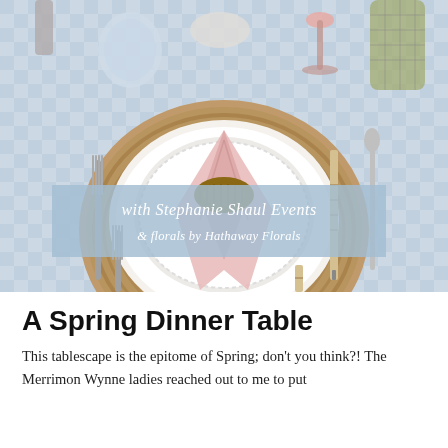[Figure (photo): A spring table setting with a pink cloth napkin in a wicker napkin ring on white plates atop a wicker charger, bamboo-handled cutlery, glassware, on a blue gingham tablecloth. A semi-transparent light blue banner overlay reads 'with Stephanie Shaul Events & florals by Hathaway Florals'.]
A Spring Dinner Table
This tablescape is the epitome of Spring; don't you think?! The Merrimon Wynne ladies reached out to me to put